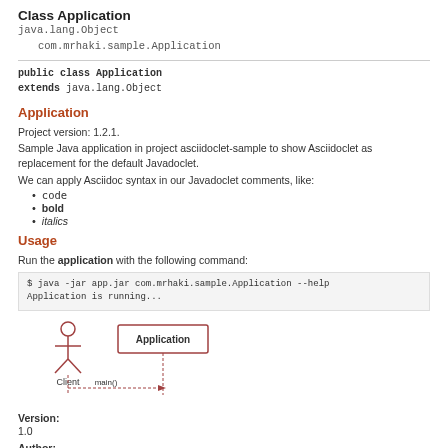Class Application
java.lang.Object
    com.mrhaki.sample.Application
public class Application
extends java.lang.Object
Application
Project version: 1.2.1.
Sample Java application in project asciidoclet-sample to show Asciidoclet as replacement for the default Javadoclet.
We can apply Asciidoc syntax in our Javadoclet comments, like:
code
bold
italics
Usage
Run the application with the following command:
$ java -jar app.jar com.mrhaki.sample.Application --help
Application is running...
[Figure (engineering-diagram): UML sequence diagram showing Client (stick figure) calling main() on Application class]
Version:
1.0
Author:
mrhaki
Documentation for the main method: